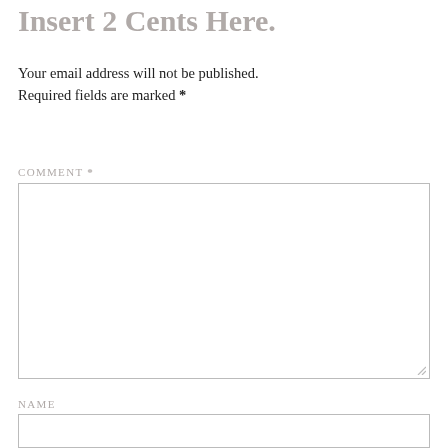Insert 2 Cents Here.
Your email address will not be published. Required fields are marked *
COMMENT *
[Figure (other): Comment textarea input box]
NAME
[Figure (other): Name text input box]